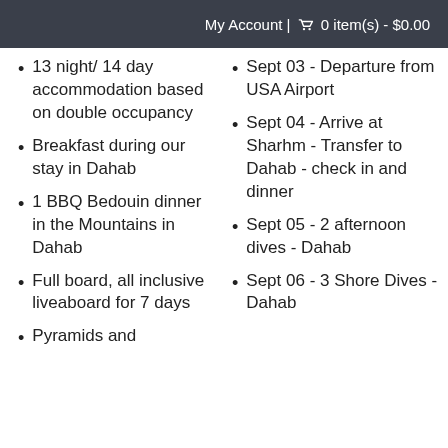My Account | 🛒 0 item(s) - $0.00
13 night/ 14 day accommodation based on double occupancy
Breakfast during our stay in Dahab
1 BBQ Bedouin dinner in the Mountains in Dahab
Full board, all inclusive liveaboard for 7 days
Pyramids and
Sept 03 - Departure from USA Airport
Sept 04 - Arrive at Sharhm - Transfer to Dahab - check in and dinner
Sept 05 - 2 afternoon dives - Dahab
Sept 06 - 3 Shore Dives - Dahab
Sept 07 -